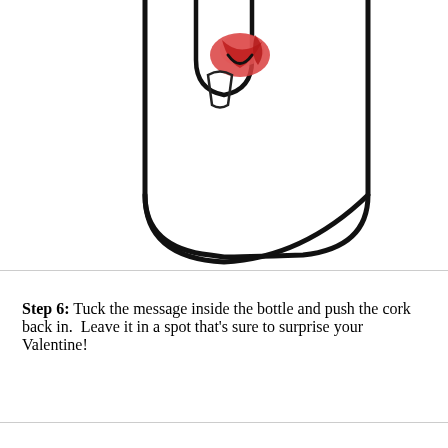CAMILLE STYLES
[Figure (illustration): Illustration of the bottom portion of a glass bottle with a rolled red paper message tucked inside the neck, drawn in black line art with red color accent.]
Step 6: Tuck the message inside the bottle and push the cork back in.  Leave it in a spot that's sure to surprise your Valentine!